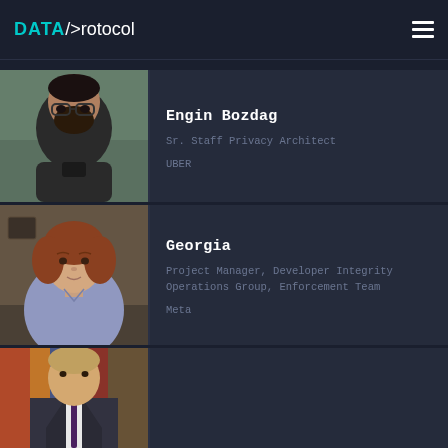DATA/>rotocol
[Figure (photo): Headshot of Engin Bozdag, a man with glasses and a beard wearing a dark shirt, photographed outdoors]
Engin Bozdag
Sr. Staff Privacy Architect
UBER
[Figure (photo): Headshot of Georgia, a woman with auburn/reddish hair wearing a light blue/lavender blouse, photographed indoors]
Georgia
Project Manager, Developer Integrity Operations Group, Enforcement Team
Meta
[Figure (photo): Partial headshot of a third person, a man in a suit, partially visible at bottom of page]